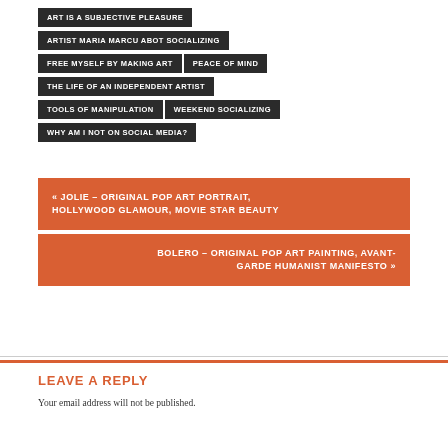ART IS A SUBJECTIVE PLEASURE
ARTIST MARIA MARCU ABOT SOCIALIZING
FREE MYSELF BY MAKING ART
PEACE OF MIND
THE LIFE OF AN INDEPENDENT ARTIST
TOOLS OF MANIPULATION
WEEKEND SOCIALIZING
WHY AM I NOT ON SOCIAL MEDIA?
« JOLIE – ORIGINAL POP ART PORTRAIT, HOLLYWOOD GLAMOUR, MOVIE STAR BEAUTY
BOLERO – ORIGINAL POP ART PAINTING, AVANT-GARDE HUMANIST MANIFESTO »
LEAVE A REPLY
Your email address will not be published.